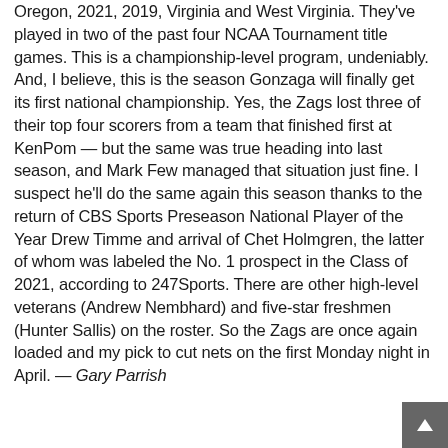Oregon, 2021, 2019, Virginia and West Virginia. They've played in two of the past four NCAA Tournament title games. This is a championship-level program, undeniably. And, I believe, this is the season Gonzaga will finally get its first national championship. Yes, the Zags lost three of their top four scorers from a team that finished first at KenPom — but the same was true heading into last season, and Mark Few managed that situation just fine. I suspect he'll do the same again this season thanks to the return of CBS Sports Preseason National Player of the Year Drew Timme and arrival of Chet Holmgren, the latter of whom was labeled the No. 1 prospect in the Class of 2021, according to 247Sports. There are other high-level veterans (Andrew Nembhard) and five-star freshmen (Hunter Sallis) on the roster. So the Zags are once again loaded and my pick to cut nets on the first Monday night in April. — Gary Parrish